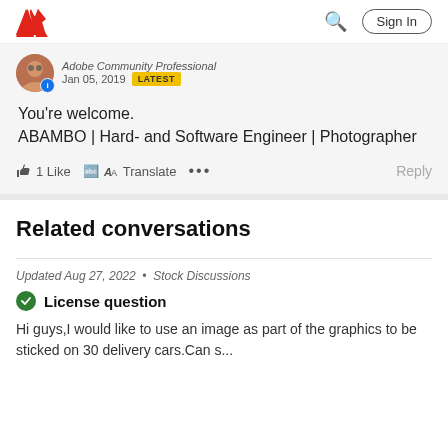Adobe | Sign In
Adobe Community Professional
Jan 05, 2019  LATEST

You're welcome.
ABAMBO | Hard- and Software Engineer | Photographer

1 Like   Translate   ...   Reply
Related conversations
Updated Aug 27, 2022  •  Stock Discussions
License question
Hi guys,I would like to use an image as part of the graphics to be sticked on 30 delivery cars.Can s...